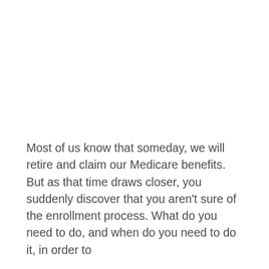Most of us know that someday, we will retire and claim our Medicare benefits. But as that time draws closer, you suddenly discover that you aren't sure of the enrollment process. What do you need to do, and when do you need to do it, in order to